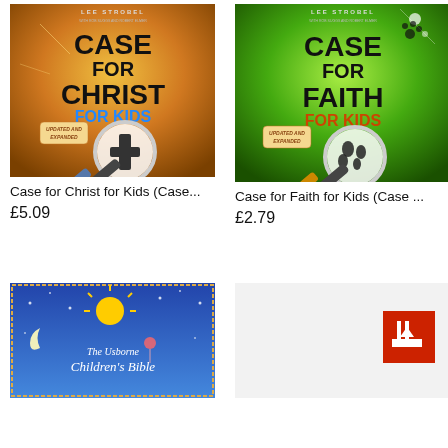[Figure (photo): Book cover: Case for Christ for Kids by Lee Strobel, updated and expanded edition, orange background with magnifying glass over a cross]
Case for Christ for Kids (Case...
£5.09
[Figure (photo): Book cover: Case for Faith for Kids by Lee Strobel, updated and expanded edition, green background with magnifying glass over footprints]
Case for Faith for Kids (Case ...
£2.79
[Figure (photo): Book cover: The Usborne Children's Bible, blue background with sun, moon and stars]
[Figure (other): Product placeholder with red download/arrow button]